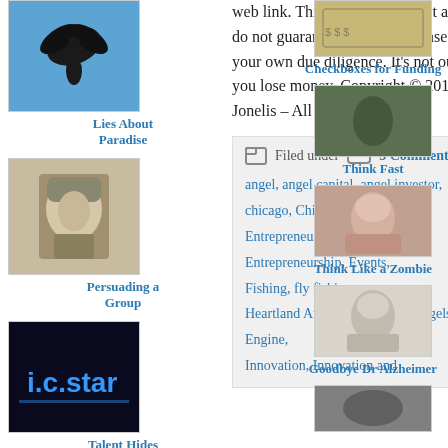[Figure (photo): Bird in flight against blue sky]
Lies About Paradise
[Figure (photo): Black and white photo of a soldier in helmet]
Persuading a Group
[Figure (photo): i.c.star neon sign in dark background]
Talent Hides
[Figure (photo): Technology/circuit diagram with blue and gold colors]
What Makes Innovation?
web link. This is not investment advice. We do not guarantee accuracy. Please perform your own due diligence. It’s not our fault if you lose money. Copyright © 2018 John Jonelis – All Rights Reserved
| Filed under | 3 Comments |
| angel, angel capital, angel investor, chicago, Chicago Ventures, Entrepreneur, Entrepreneurship, Events, Fishing, fly fishing, Heartland Angels, Hyde Park Angels, Impact Engine, Innovation, Innovation and |  |
[Figure (photo): Image of money/currency bills]
Checkboxes for Funding
[Figure (photo): Camouflage/military scene in green]
Think Fast
[Figure (photo): Woman with face tattoos or markings]
Think Like a Zombie
[Figure (photo): Elderly person portrait in black and white]
Goodbye Dr Alzheimer
[Figure (photo): Partial image at bottom right]